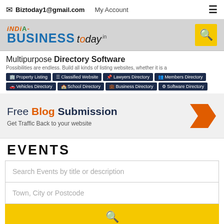✉ Biztoday1@gmail.com   My Account   ☰
[Figure (logo): India Business Today logo with search button]
[Figure (infographic): Multipurpose Directory Software banner with tags: Property Listing, Classified Website, Lawyers Directory, Members Directory, Vehicles Directory, School Directory, Business Directory, Software Directory]
[Figure (infographic): Free Blog Submission banner - Get Traffic Back to your website with orange chevron arrow]
EVENTS
Search Events by title or description
Town, City or Postcode